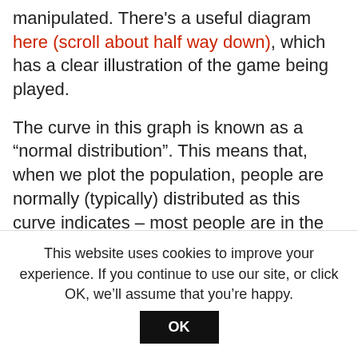manipulated. There's a useful diagram here (scroll about half way down), which has a clear illustration of the game being played.
The curve in this graph is known as a “normal distribution”. This means that, when we plot the population, people are normally (typically) distributed as this curve indicates – most people are in the middle and fewer people at both ends. The peak of the hump indicates the average (mean and mode in this case if you like stats). The average fasting blood glucose level is 100 mg/dL (this is the US measurement – UK would be 5.6 mmol/L). Don’t worry about the mgs and the
This website uses cookies to improve your experience. If you continue to use our site, or click OK, we’ll assume that you’re happy.